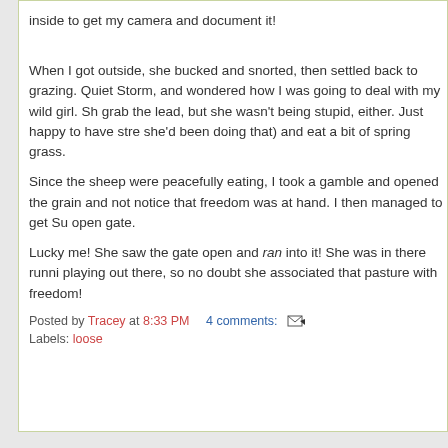inside to get my camera and document it!
When I got outside, she bucked and snorted, then settled back to grazing. Quiet Storm, and wondered how I was going to deal with my wild girl. She grab the lead, but she wasn't being stupid, either. Just happy to have stre she'd been doing that) and eat a bit of spring grass.
Since the sheep were peacefully eating, I took a gamble and opened the grain and not notice that freedom was at hand. I then managed to get Su open gate.
Lucky me! She saw the gate open and ran into it! She was in there runni playing out there, so no doubt she associated that pasture with freedom!
Posted by Tracey at 8:33 PM   4 comments:
Labels: loose
Thursday, April 5, 2007
A little video
One of the things I'd like to be able to do for you while on vacation is vide outside of town. By the end of the year, with a bit more than the edit...